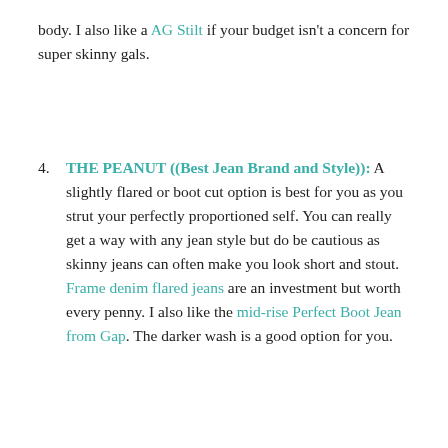body. I also like a AG Stilt if your budget isn't a concern for super skinny gals.
4. THE PEANUT ((Best Jean Brand and Style)): A slightly flared or boot cut option is best for you as you strut your perfectly proportioned self. You can really get a way with any jean style but do be cautious as skinny jeans can often make you look short and stout. Frame denim flared jeans are an investment but worth every penny. I also like the mid-rise Perfect Boot Jean from Gap. The darker wash is a good option for you.